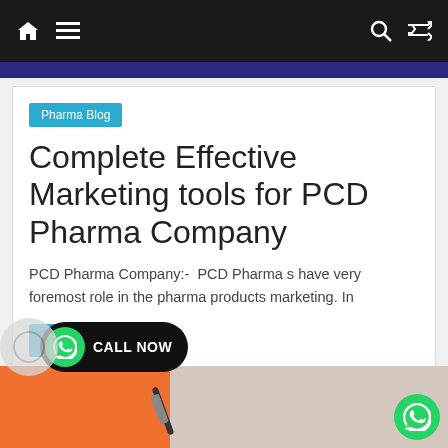Navigation bar with home, menu, search, and shuffle icons
Pharma Blog
Complete Effective Marketing tools for PCD Pharma Company
PCD Pharma Company:- PCD Pharma s have very foremost role in the pharma products marketing. In
Read more
[Figure (photo): Bottom portion showing an orange background with a person writing, partially visible]